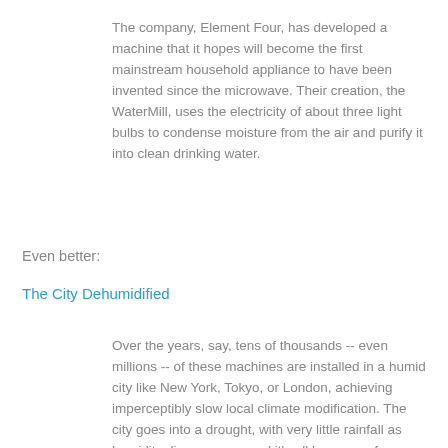The company, Element Four, has developed a machine that it hopes will become the first mainstream household appliance to have been invented since the microwave. Their creation, the WaterMill, uses the electricity of about three light bulbs to condense moisture from the air and purify it into clean drinking water.
Even better:
The City Dehumidified
Over the years, say, tens of thousands -- even millions -- of these machines are installed in a humid city like New York, Tokyo, or London, achieving imperceptibly slow local climate modification. The city goes into a drought, with very little rainfall as humidity disappears -- and it's all because of a certain line of products that